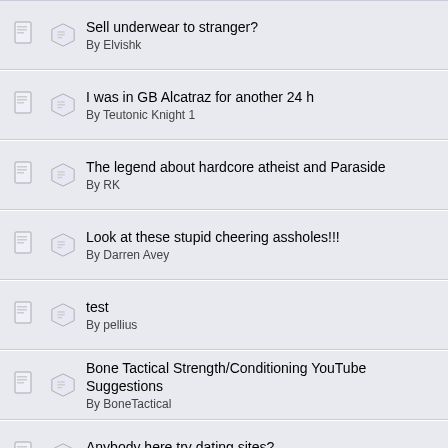Sell underwear to stranger?
By Elvishk
I was in GB Alcatraz for another 24 h
By Teutonic Knight 1
The legend about hardcore atheist and Paraside
By RK
Look at these stupid cheering assholes!!!
By Darren Avey
test
By pellius
Bone Tactical Strength/Conditioning YouTube Suggestions
By BoneTactical
Anybody here try dating sites?
By davej1963
Aveshers Walk Down Memory Lane
By johnthegreat687
WARNING-GRAPHIC Salesman goes the extra step to test a tractor tires